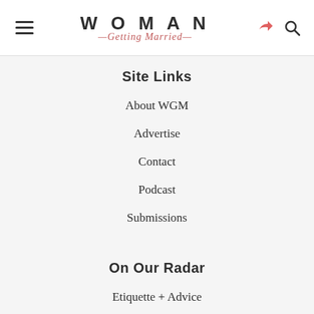WOMAN Getting Married
Site Links
About WGM
Advertise
Contact
Podcast
Submissions
On Our Radar
Etiquette + Advice
Honeymoon Destinations
Real Weddings
Venue Reviews